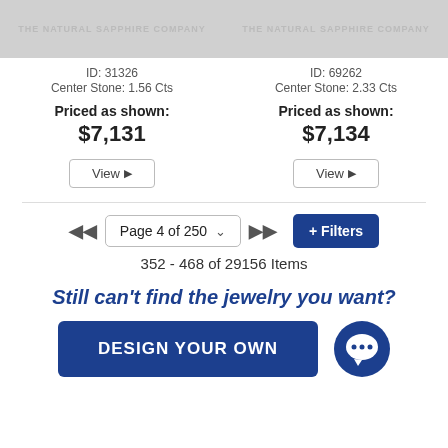[Figure (photo): Product image placeholder with 'The Natural Sapphire Company' watermark for item ID 31326]
ID: 31326
Center Stone: 1.56 Cts
Priced as shown:
$7,131
View ▶
[Figure (photo): Product image placeholder with 'The Natural Sapphire Company' watermark for item ID 69262]
ID: 69262
Center Stone: 2.33 Cts
Priced as shown:
$7,134
View ▶
Page 4 of 250
+ Filters
352 - 468 of 29156 Items
Still can't find the jewelry you want?
DESIGN YOUR OWN